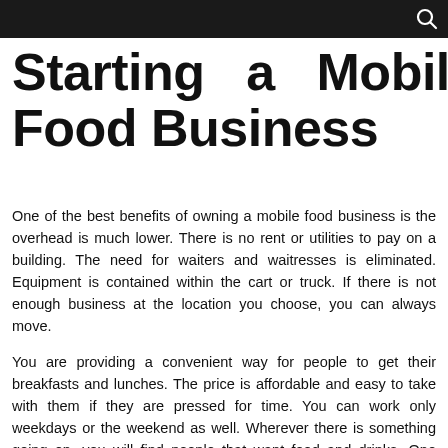Starting a Mobile Food Business
One of the best benefits of owning a mobile food business is the overhead is much lower. There is no rent or utilities to pay on a building. The need for waiters and waitresses is eliminated. Equipment is contained within the cart or truck. If there is not enough business at the location you choose, you can always move.
You are providing a convenient way for people to get their breakfasts and lunches. The price is affordable and easy to take with them if they are pressed for time. You can work only weekdays or the weekend as well. Wherever there is something going on, you will find people that want food and drinks. One example of a company that offers food carts for sale is All Star Carts.